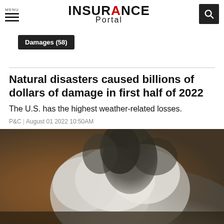INSURANCE Portal
Damages (58)
Natural disasters caused billions of dollars of damage in first half of 2022
The U.S. has the highest weather-related losses.
P&C | August 01 2022 10:50AM
[Figure (photo): Large plume of smoke rising from a wildfire or explosion, with brownish-orange sky in the background and dark smoke billowing upward]